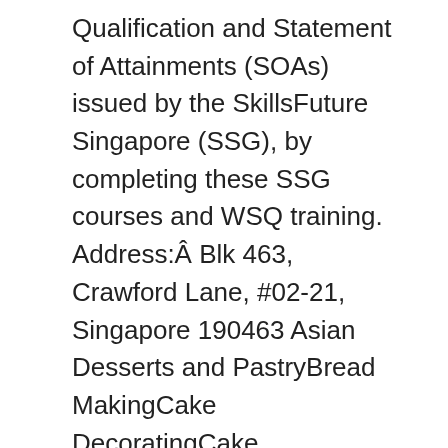Qualification and Statement of Attainments (SOAs) issued by the SkillsFuture Singapore (SSG), by completing these SSG courses and WSQ training. Address:Â Blk 463, Crawford Lane, #02-21, Singapore 190463 Asian Desserts and PastryBread MakingCake DecoratingCake MakingChocolateFrench PastryWestern Pastry, Chef in Training: Application Procedure. As a start, we have identified eight categories under the SkillsFuture Series: (i) data analytics, (ii) finance, (iii) tech-enabled services, (iv) digital media, (v) cyber security, (vi) entrepreneurship, (vii) advanced manufacturing, and (viii) urban solutions. Who Is It For? Find their courses here. With this $500